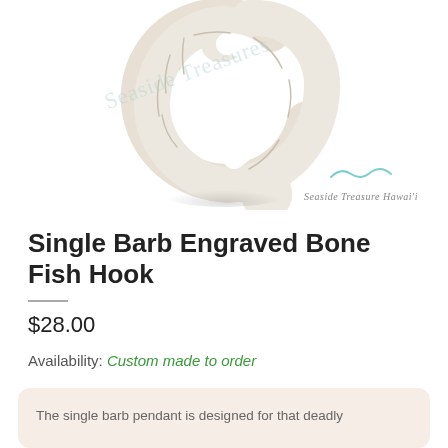[Figure (photo): A white carved bone fish hook pendant with engraved line patterns, shown on white background. Watermark text reads 'Seaside Treasures' diagonally. A wave logo and 'Seaside Treasure Hawai'i' text appears bottom right.]
Single Barb Engraved Bone Fish Hook
$28.00
Availability: Custom made to order
The single barb pendant is designed for that deadly